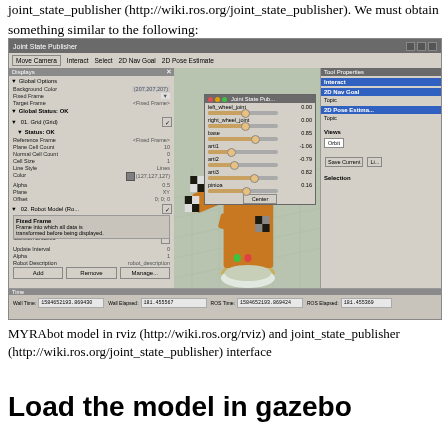joint_state_publisher (http://wiki.ros.org/joint_state_publisher). We must obtain something similar to the following:
[Figure (screenshot): Screenshot of RViz application showing MYRAbot robot arm model in 3D viewport with Joint State Publisher interface panel. Left panel shows Displays with Global Options, Grid, and Robot Model settings. Right side shows Tool Properties panel. Center shows orange robotic arm model. A floating Joint State Publisher dialog shows sliders for left_wheel_joint (0.00), right_wheel_joint (0.00), base (0.85), arti1 (-1.06), arti2 (-0.79), arti3 (0.82), pinioa (0.16). Bottom time bar shows Wall Time: 1584652193.869430, Wall Elapsed: 181.455567, ROS Time: 1584652193.869424, ROS Elapsed: 181.455369.]
MYRAbot model in rviz (http://wiki.ros.org/rviz) and joint_state_publisher (http://wiki.ros.org/joint_state_publisher) interface
Load the model in gazebo